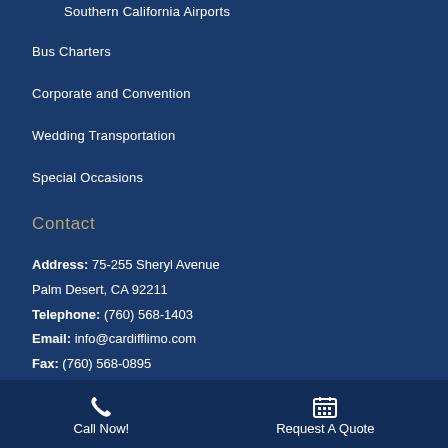Southern California Airports
Bus Charters
Corporate and Convention
Wedding Transportation
Special Occasions
Contact
Address: 75-255 Sheryl Avenue
Palm Desert, CA 92211
Telephone: (760) 568-1403
Email: info@cardifflimo.com
Fax: (760) 568-0895
Call Now!   Request A Quote